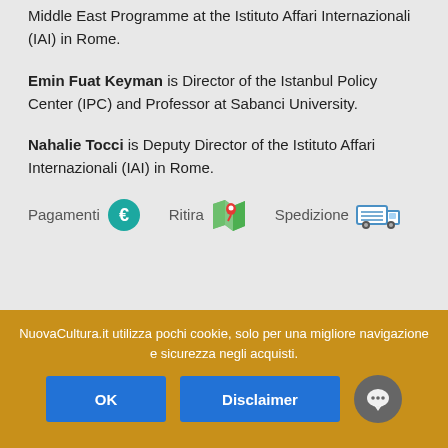Middle East Programme at the Istituto Affari Internazionali (IAI) in Rome.
Emin Fuat Keyman is Director of the Istanbul Policy Center (IPC) and Professor at Sabanci University.
Nahalie Tocci is Deputy Director of the Istituto Affari Internazionali (IAI) in Rome.
[Figure (infographic): Icons row showing Pagamenti (euro icon), Ritira (map pin icon), Spedizione (delivery truck icon)]
NuovaCultura.it utilizza pochi cookie, solo per una migliore navigazione e sicurezza negli acquisti.
OK
Disclaimer